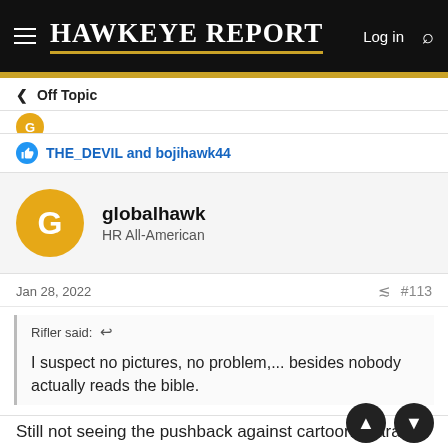HAWKEYE REPORT  Log in  [search]
< Off Topic
THE_DEVIL and bojihawk44
globalhawk
HR All-American
Jan 28, 2022  #113
Rifler said: ↩

I suspect no pictures, no problem,... besides nobody actually reads the bible.
Still not seeing the pushback against cartoon characters?